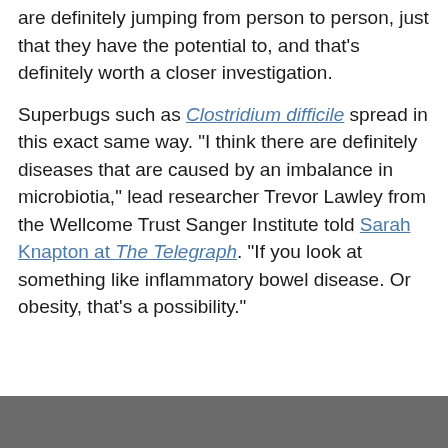To be clear, the study doesn't say these spores are definitely jumping from person to person, just that they have the potential to, and that's definitely worth a closer investigation.
Superbugs such as Clostridium difficile spread in this exact same way. "I think there are definitely diseases that are caused by an imbalance in microbiotia," lead researcher Trevor Lawley from the Wellcome Trust Sanger Institute told Sarah Knapton at The Telegraph. "If you look at something like inflammatory bowel disease. Or obesity, that's a possibility."